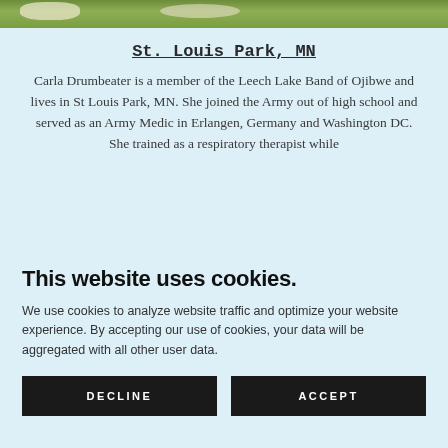[Figure (photo): Partial view of a floral/greenery photo at the top of the page]
St. Louis Park, MN
Carla Drumbeater is a member of the Leech Lake Band of Ojibwe and lives in St Louis Park, MN. She joined the Army out of high school and served as an Army Medic in Erlangen, Germany and Washington DC. She trained as a respiratory therapist while
This website uses cookies.
We use cookies to analyze website traffic and optimize your website experience. By accepting our use of cookies, your data will be aggregated with all other user data.
DECLINE
ACCEPT